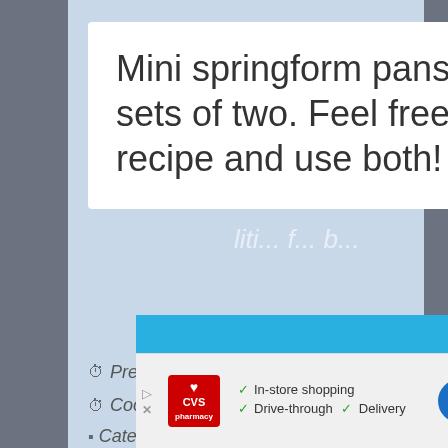Mini springform pans often come in sets of two. Feel free to double the recipe and use both!
Prep Time: 1 hour, 30 minutes
Cook Time: 1 hour
Category: Cheesecake   Method: Baking
Cuisine: Dessert
[Figure (screenshot): CVS Pharmacy advertisement banner showing in-store shopping, drive-through, and delivery options with a navigation arrow icon]